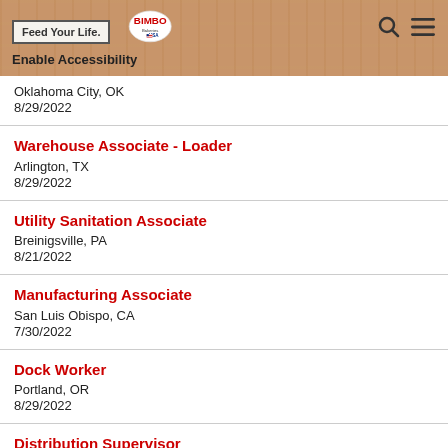Feed Your Life. BIMBO Bakeries USA — Enable Accessibility
Oklahoma City, OK
8/29/2022
Warehouse Associate - Loader
Arlington, TX
8/29/2022
Utility Sanitation Associate
Breinigsville, PA
8/21/2022
Manufacturing Associate
San Luis Obispo, CA
7/30/2022
Dock Worker
Portland, OR
8/29/2022
Distribution Supervisor